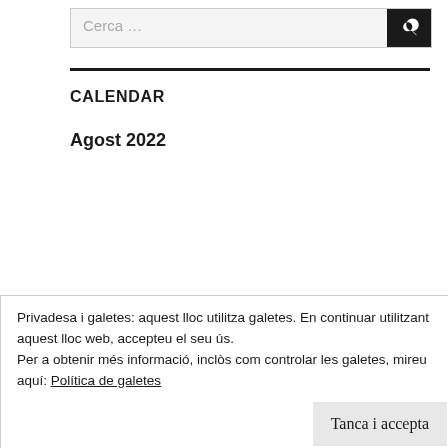[Figure (screenshot): Search bar with text 'Cerca ...' and a dark search button with magnifying glass icon]
CALENDAR
Agost 2022
| dl. | dt. | dc. | dj. | dv. | ds. | dg. |
| --- | --- | --- | --- | --- | --- | --- |
| 1 | 2 | 3 | 4 | 5 | 6 | 7 |
Privadesa i galetes: aquest lloc utilitza galetes. En continuar utilitzant aquest lloc web, accepteu el seu ús.
Per a obtenir més informació, inclòs com controlar les galetes, mireu aquí: Política de galetes
Tanca i accepta